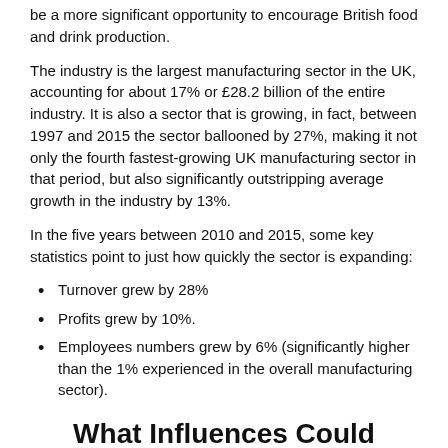be a more significant opportunity to encourage British food and drink production.
The industry is the largest manufacturing sector in the UK, accounting for about 17% or £28.2 billion of the entire industry. It is also a sector that is growing, in fact, between 1997 and 2015 the sector ballooned by 27%, making it not only the fourth fastest-growing UK manufacturing sector in that period, but also significantly outstripping average growth in the industry by 13%.
In the five years between 2010 and 2015, some key statistics point to just how quickly the sector is expanding:
Turnover grew by 28%
Profits grew by 10%.
Employees numbers grew by 6% (significantly higher than the 1% experienced in the overall manufacturing sector).
What Influences Could Impact Growth?
Brexit